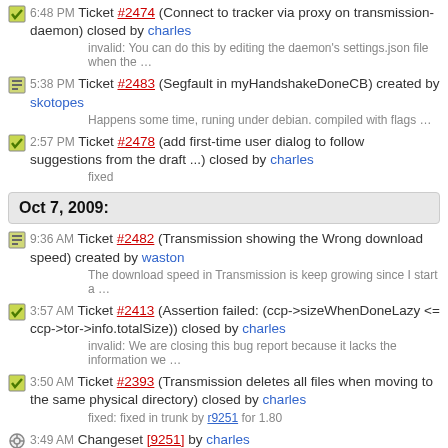6:48 PM Ticket #2474 (Connect to tracker via proxy on transmission-daemon) closed by charles
invalid: You can do this by editing the daemon's settings.json file when the …
5:38 PM Ticket #2483 (Segfault in myHandshakeDoneCB) created by skotopes
Happens some time, runing under debian. compiled with flags …
2:57 PM Ticket #2478 (add first-time user dialog to follow suggestions from the draft ...) closed by charles
fixed
Oct 7, 2009:
9:36 AM Ticket #2482 (Transmission showing the Wrong download speed) created by waston
The download speed in Transmission is keep growing since I start a …
3:57 AM Ticket #2413 (Assertion failed: (ccp->sizeWhenDoneLazy <= ccp->tor->info.totalSize)) closed by charles
invalid: We are closing this bug report because it lacks the information we …
3:50 AM Ticket #2393 (Transmission deletes all files when moving to the same physical directory) closed by charles
fixed: fixed in trunk by r9251 for 1.80
3:49 AM Changeset [9251] by charles
(trunk libT) #2393: Transmission deletes all files when moving to the …